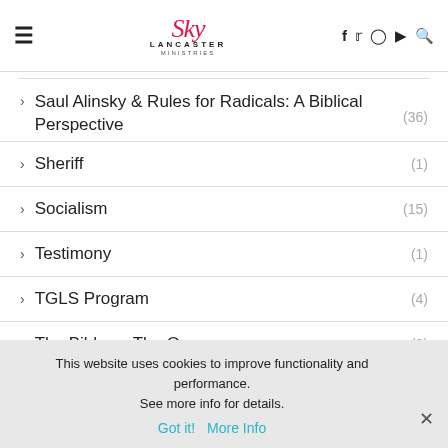Lancaster Ministries — navigation header with logo, hamburger menu, and social icons
Saul Alinsky & Rules for Radicals: A Biblical Perspective (36)
Sheriff (1)
Socialism (15)
Testimony (1)
TGLS Program (4)
The Bible vs The Quran (2)
This website uses cookies to improve functionality and performance. See more info for details. Got it! More Info